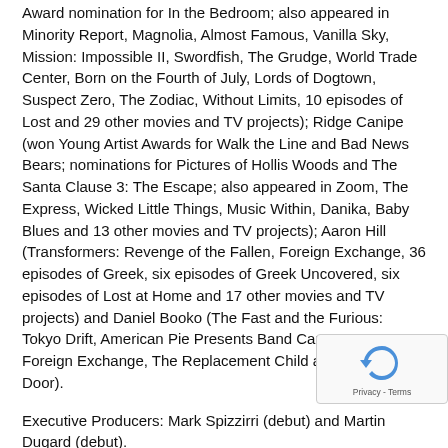Award nomination for In the Bedroom; also appeared in Minority Report, Magnolia, Almost Famous, Vanilla Sky, Mission: Impossible II, Swordfish, The Grudge, World Trade Center, Born on the Fourth of July, Lords of Dogtown, Suspect Zero, The Zodiac, Without Limits, 10 episodes of Lost and 29 other movies and TV projects); Ridge Canipe (won Young Artist Awards for Walk the Line and Bad News Bears; nominations for Pictures of Hollis Woods and The Santa Clause 3: The Escape; also appeared in Zoom, The Express, Wicked Little Things, Music Within, Danika, Baby Blues and 13 other movies and TV projects); Aaron Hill (Transformers: Revenge of the Fallen, Foreign Exchange, 36 episodes of Greek, six episodes of Greek Uncovered, six episodes of Lost at Home and 17 other movies and TV projects) and Daniel Booko (The Fast and the Furious: Tokyo Drift, American Pie Presents Band Camp, Bratz, Foreign Exchange, The Replacement Child and The Open Door).
Executive Producers: Mark Spizzirri (debut) and Martin Dugard (debut).
Producer: Ed Richardson (Making of Myst V, 10 Years of Tomb Raider: A Game Tap Retrospective, 43 episodes of Man Made Movie, 51 episodes of Movies for Guys Who Like Movies,12 episodes of Big Playstation Saturday and 11 episodes of The